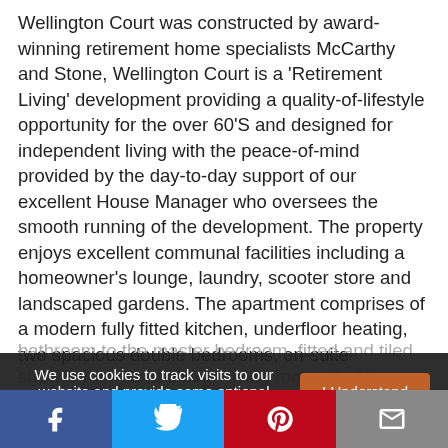Wellington Court was constructed by award-winning retirement home specialists McCarthy and Stone, Wellington Court is a 'Retirement Living' development providing a quality-of-lifestyle opportunity for the over 60'S and designed for independent living with the peace-of-mind provided by the day-to-day support of our excellent House Manager who oversees the smooth running of the development. The property enjoys excellent communal facilities including a homeowner's lounge, laundry, scooter store and landscaped gardens. The apartment comprises of a modern fully fitted kitchen, underfloor heating, two spacious double bedrooms, en-suite bathroom to the master bedroom, fitted and tiled shower room and a large living room. Parking areas are...
We use cookies to track visits to our website and provide some optional personalisation.
I Understand